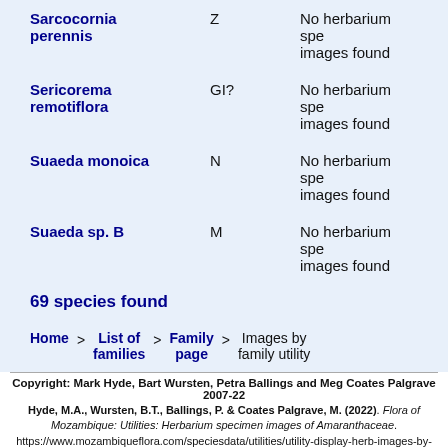| Species | Code | Status |
| --- | --- | --- |
| Sarcocornia perennis | Z | No herbarium specimen images found |
| Sericorema remotiflora | GI? | No herbarium specimen images found |
| Suaeda monoica | N | No herbarium specimen images found |
| Suaeda sp. B | M | No herbarium specimen images found |
69 species found
Home > List of families > Family page > Images by family utility
Copyright: Mark Hyde, Bart Wursten, Petra Ballings and Meg Coates Palgrave 2007-22
Hyde, M.A., Wursten, B.T., Ballings, P. & Coates Palgrave, M. (2022). Flora of Mozambique: Utilities: Herbarium specimen images of Amaranthaceae. https://www.mozambiqueflora.com/speciesdata/utilities/utility-display-herb-images-by-family.php?family_id=8, retrieved 30 August 2022
Site software last modified: 12 February 2018 8:45pm
Terms of use